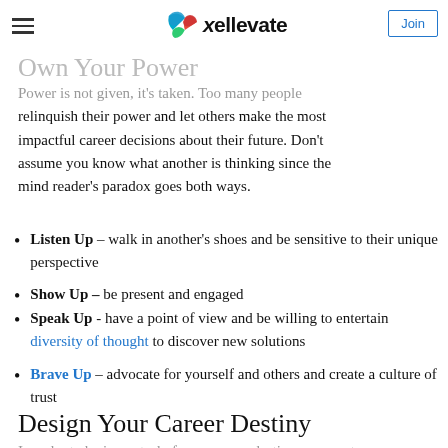Own Your Power | ellevate | Join
Own Your Power
Power is not given, it's taken. Too many people relinquish their power and let others make the most impactful career decisions about their future. Don't assume you know what another is thinking since the mind reader's paradox goes both ways.
Listen Up – walk in another's shoes and be sensitive to their unique perspective
Show Up – be present and engaged
Speak Up - have a point of view and be willing to entertain diversity of thought to discover new solutions
Brave Up – advocate for yourself and others and create a culture of trust
Design Your Career Destiny
In order to be in control of your career destiny you must